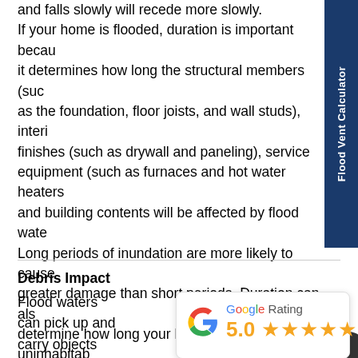and falls slowly will recede more slowly. If your home is flooded, duration is important because it determines how long the structural members (such as the foundation, floor joists, and wall studs), interior finishes (such as drywall and paneling), service equipment (such as furnaces and hot water heaters), and building contents will be affected by flood water. Long periods of inundation are more likely to cause greater damage than short periods. Duration can also determine how long your home remains uninhabitable.
Debris Impact
Flood waters can pick up and carry objects of all types: from small to large, from
[Figure (other): Flood-Flap product image placeholder]
[Figure (other): Google Rating card showing 5.0 stars with Google G logo]